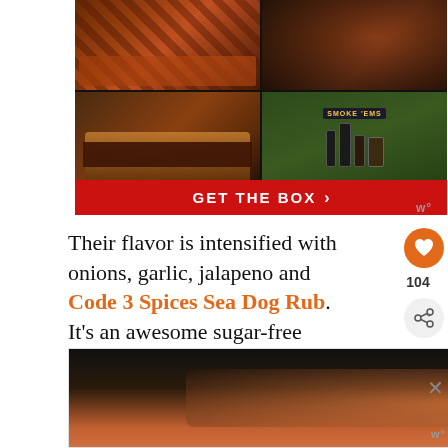[Figure (photo): Advertisement banner with food photos (BBQ ribs top-left, smoked meat top-right, pulled meat sandwich bottom-left, Smoke 'Ems product box bottom-right) and a red 'GET THE BOX >' call-to-action button]
Their flavor is intensified with onions, garlic, jalapeno and Code 3 Spices Sea Dog Rub. It's an awesome sugar-free seasoning for seafood.
[Figure (photo): Food photo showing shrimp dish at bottom of page, partially cropped]